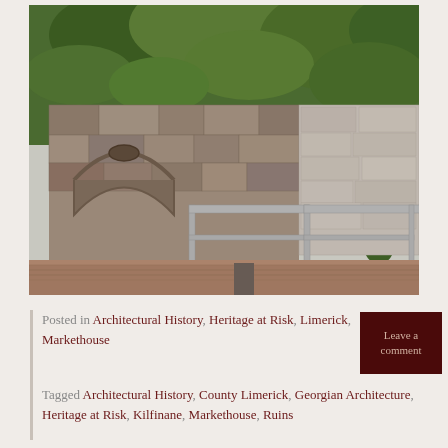[Figure (photo): Photograph of an old stone wall with a brick arch, partially covered in green ivy, with metal construction barriers/gates in front, and a brick-paved street in the foreground.]
Posted in Architectural History, Heritage at Risk, Limerick, Markethouse
Tagged Architectural History, County Limerick, Georgian Architecture, Heritage at Risk, Kilfinane, Markethouse, Ruins